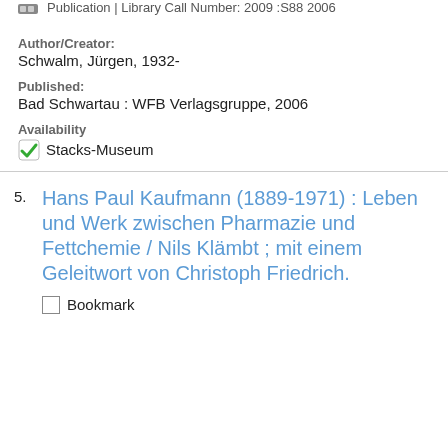Publication | Library Call Number: 2009 :S88 2006
Author/Creator:
Schwalm, Jürgen, 1932-
Published:
Bad Schwartau : WFB Verlagsgruppe, 2006
Availability
✔ Stacks-Museum
5. Hans Paul Kaufmann (1889-1971) : Leben und Werk zwischen Pharmazie und Fettchemie / Nils Klämbt ; mit einem Geleitwort von Christoph Friedrich.
Bookmark